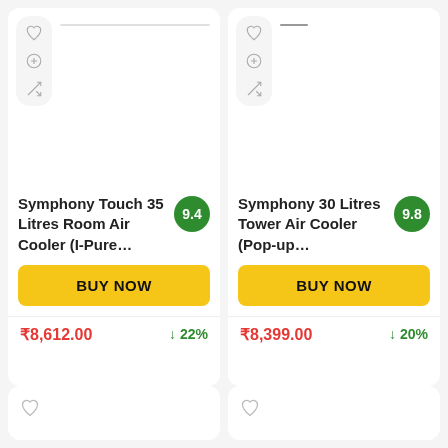[Figure (screenshot): Product card for Symphony Touch 35 Litres Room Air Cooler (I-Pure… with score badge 9.4, BUY NOW button, price ₹8,612.00, discount 22%]
[Figure (screenshot): Product card for Symphony 30 Litres Tower Air Cooler (Pop-up… with score badge 9.8, BUY NOW button, price ₹8,399.00, discount 20%]
Symphony Touch 35 Litres Room Air Cooler (I-Pure…
9.4
BUY NOW
₹8,612.00
↓ 22%
Symphony 30 Litres Tower Air Cooler (Pop-up…
9.8
BUY NOW
₹8,399.00
↓ 20%